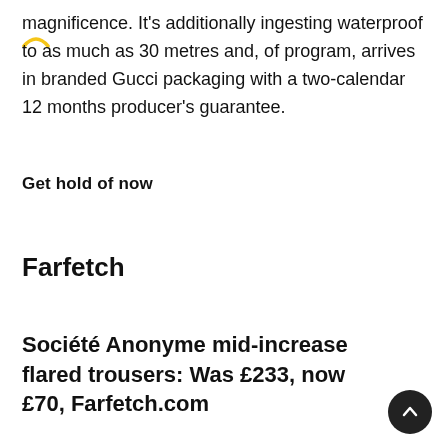magnificence. It's additionally ingesting waterproof to as much as 30 metres and, of program, arrives in branded Gucci packaging with a two-calendar 12 months producer's guarantee.
Get hold of now
Farfetch
Société Anonyme mid-increase flared trousers: Was £233, now £70, Farfetch.com